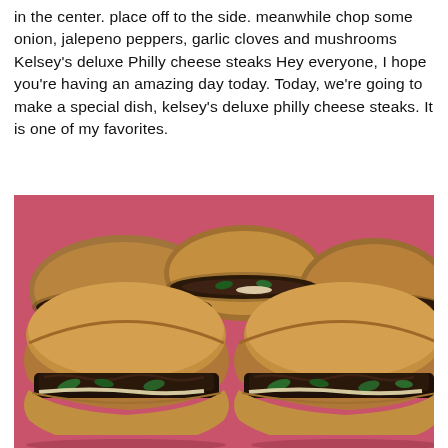in the center. place off to the side. meanwhile chop some onion, jalepeno peppers, garlic cloves and mushrooms Kelsey's deluxe Philly cheese steaks Hey everyone, I hope you're having an amazing day today. Today, we're going to make a special dish, kelsey's deluxe philly cheese steaks. It is one of my favorites.
[Figure (photo): Photo of several Philly cheesesteak sandwiches on hoagie rolls filled with steak, peppers, mushrooms and cheese, arranged on a pink/red cutting board or plate, viewed close up.]